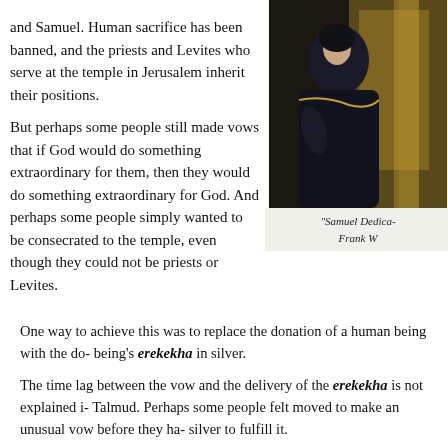and Samuel.  Human sacrifice has been banned, and the priests and Levites who serve at the temple in Jerusalem inherit their positions.
[Figure (photo): A woman in dark robes seated in an ornate golden setting, appearing to be a painting or artistic photograph.]
“Samuel Dedica- Frank W
But perhaps some people still made vows that if God would do something extraordinary for them, then they would do something extraordinary for God. And perhaps some people simply wanted to be consecrated to the temple, even though they could not be priests or Levites.
One way to achieve this was to replace the donation of a human being with the do- being’s erekekha in silver.
The time lag between the vow and the delivery of the erekekha is not explained i- Talmud.  Perhaps some people felt moved to make an unusual vow before they ha- silver to fulfill it.
Or perhaps the time lag was important because between the time of the vow and t- delivered, the person whose erekekha was vowed was considered consecrated—m- holy purpose.
Imagine what it would be like to undertake a vow that made you consecrated to G- Unlike a monk or nun (or a nazirite in ancient Israel—see my blog post Naso: Le-